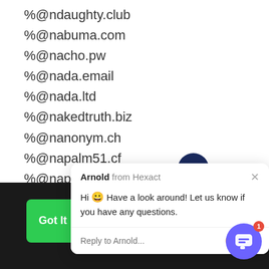%@ndaughty.club
%@nabuma.com
%@nacho.pw
%@nada.email
%@nada.ltd
%@nakedtruth.biz
%@nanonym.ch
%@napalm51.cf
%@napalm51.ga
%@napalm51.gq
%@napalm51.ml
%@napalm51.tk
[Figure (screenshot): Chat popup from Arnold at Hexact saying 'Hi 😀 Have a look around! Let us know if you have any questions.' with a reply input field]
By using [site] you have read and understand our Privacy Policy and Terms of Service
More